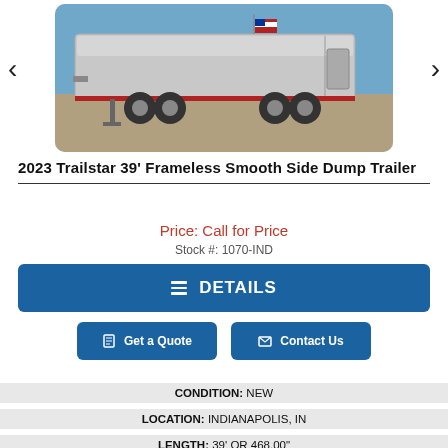[Figure (photo): Side view of a 2023 Trailstar 39' Frameless Smooth Side Dump Trailer, silver/aluminum body with American flag on front, parked in a lot on a sunny day. Navigation arrows on left and right.]
2023 Trailstar 39' Frameless Smooth Side Dump Trailer
Price: Call for Price
Stock #: 1070-IND
≡ DETAILS
Get a Quote
Contact Us
CONDITION: NEW
LOCATION: INDIANAPOLIS, IN
LENGTH: 39' OR 468.00"